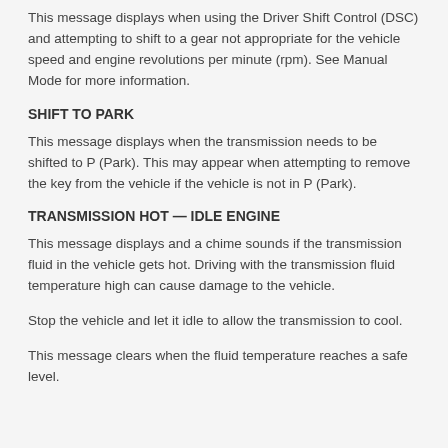This message displays when using the Driver Shift Control (DSC) and attempting to shift to a gear not appropriate for the vehicle speed and engine revolutions per minute (rpm). See Manual Mode for more information.
SHIFT TO PARK
This message displays when the transmission needs to be shifted to P (Park). This may appear when attempting to remove the key from the vehicle if the vehicle is not in P (Park).
TRANSMISSION HOT — IDLE ENGINE
This message displays and a chime sounds if the transmission fluid in the vehicle gets hot. Driving with the transmission fluid temperature high can cause damage to the vehicle.
Stop the vehicle and let it idle to allow the transmission to cool.
This message clears when the fluid temperature reaches a safe level.